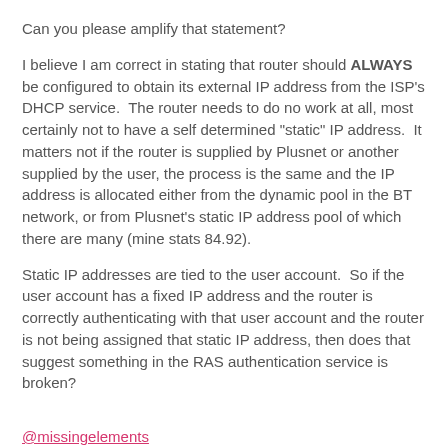Can you please amplify that statement?
I believe I am correct in stating that router should ALWAYS be configured to obtain its external IP address from the ISP's DHCP service.  The router needs to do no work at all, most certainly not to have a self determined "static" IP address.  It matters not if the router is supplied by Plusnet or another supplied by the user, the process is the same and the IP address is allocated either from the dynamic pool in the BT network, or from Plusnet's static IP address pool of which there are many (mine stats 84.92).
Static IP addresses are tied to the user account.  So if the user account has a fixed IP address and the router is correctly authenticating with that user account and the router is not being assigned that static IP address, then does that suggest something in the RAS authentication service is broken?
@missingelements
Can you please confirm my points of clarification in post #6 please?  Something does not add up here.